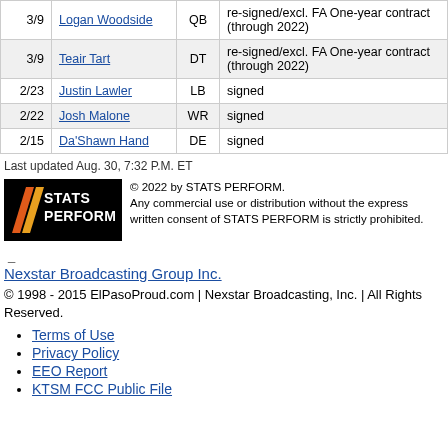| Date | Name | Pos | Notes |
| --- | --- | --- | --- |
| 3/9 | Logan Woodside | QB | re-signed/excl. FA One-year contract (through 2022) |
| 3/9 | Teair Tart | DT | re-signed/excl. FA One-year contract (through 2022) |
| 2/23 | Justin Lawler | LB | signed |
| 2/22 | Josh Malone | WR | signed |
| 2/15 | Da'Shawn Hand | DE | signed |
Last updated Aug. 30, 7:32 P.M. ET
[Figure (logo): STATS PERFORM logo with diagonal slash marks on black background]
© 2022 by STATS PERFORM. Any commercial use or distribution without the express written consent of STATS PERFORM is strictly prohibited.
_
Nexstar Broadcasting Group Inc.
© 1998 - 2015 ElPasoProud.com | Nexstar Broadcasting, Inc. | All Rights Reserved.
Terms of Use
Privacy Policy
EEO Report
KTSM FCC Public File